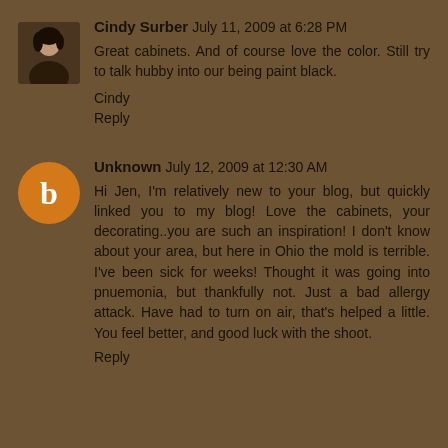[Figure (photo): Avatar photo of Cindy Surber, a woman with dark hair]
Cindy Surber July 11, 2009 at 6:28 PM
Great cabinets. And of course love the color. Still try to talk hubby into our being paint black.

Cindy

Reply
[Figure (logo): Blogger 'B' logo icon in orange circle for Unknown commenter]
Unknown July 12, 2009 at 12:30 AM
Hi Jen, I'm relatively new to your blog, but quickly linked you to my blog! Love the cabinets, your decorating..you are such an inspiration! I don't know about your area, but here in Ohio the mold is terrible. I've been sick for weeks! Thought it was going into pnuemonia, but thankfully not. Just a bad allergy attack. Have had to turn on air, that's helped a little. You feel better, and good luck with the shoot.

Reply